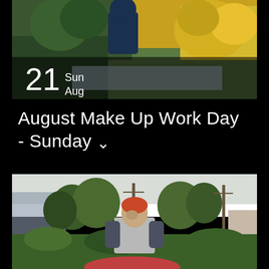[Figure (photo): Top photo showing a person gardening with colorful plants and flowers in a garden, overlaid with a dark semi-transparent bar showing date 21 Sun Aug]
21 Sun Aug
August Make Up Work Day - Sunday
RSVP
[Figure (photo): Bottom photo showing a young man in a grey baseball t-shirt working in a community garden with trees, utility poles, and houses visible in the background]